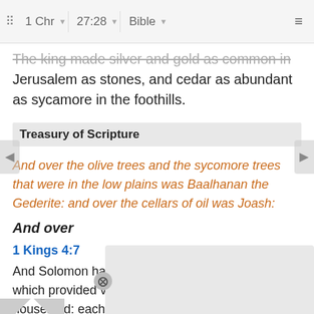⠿  1 Chr  ▾  27:28  ▾  Bible  ▾  ≡
The king made silver and gold as common in Jerusalem as stones, and cedar as abundant as sycamore in the foothills.
Treasury of Scripture
And over the olive trees and the sycomore trees that were in the low plains was Baalhanan the Gederite: and over the cellars of oil was Joash:
And over
1 Kings 4:7
And Solomon had twelve officers over all Israel, which provided victuals for the king and his household: each man his month in a year made provis
the s